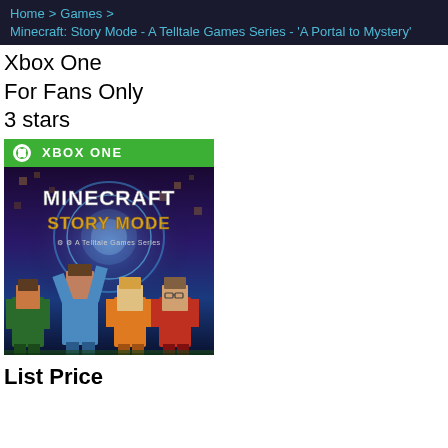Home > Games > Minecraft: Story Mode - A Telltale Games Series - 'A Portal to Mystery'
Xbox One
For Fans Only
3 stars
[Figure (photo): Minecraft: Story Mode - A Telltale Games Series Xbox One game box art featuring characters and the game title]
List Price